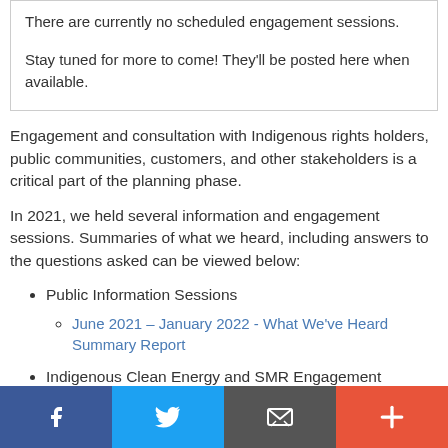There are currently no scheduled engagement sessions.

Stay tuned for more to come! They'll be posted here when available.
Engagement and consultation with Indigenous rights holders, public communities, customers, and other stakeholders is a critical part of the planning phase.
In 2021, we held several information and engagement sessions. Summaries of what we heard, including answers to the questions asked can be viewed below:
Public Information Sessions
June 2021 – January 2022 - What We've Heard Summary Report
Indigenous Clean Energy and SMR Engagement